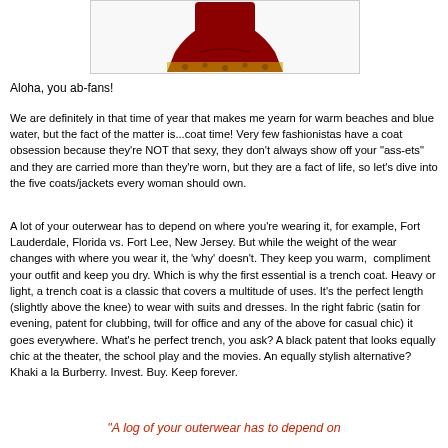[Figure (photo): A red/burgundy flared coat or jacket displayed against a white background, with leopard print visible at the bottom hem.]
Aloha, you ab-fans!
We are definitely in that time of year that makes me yearn for warm beaches and blue water, but the fact of the matter is...coat time! Very few fashionistas have a coat obsession because they're NOT that sexy, they don't always show off your "ass-ets" and they are carried more than they're worn, but they are a fact of life, so let's dive into the five coats/jackets every woman should own.
A lot of your outerwear has to depend on where you're wearing it, for example, Fort Lauderdale, Florida vs. Fort Lee, New Jersey. But while the weight of the wear changes with where you wear it, the 'why' doesn't. They keep you warm,  compliment your outfit and keep you dry. Which is why the first essential is a trench coat. Heavy or light, a trench coat is a classic that covers a multitude of uses. It's the perfect length (slightly above the knee) to wear with suits and dresses. In the right fabric (satin for evening, patent for clubbing, twill for office and any of the above for casual chic) it goes everywhere. What's he perfect trench, you ask? A black patent that looks equally chic at the theater, the school play and the movies. An equally stylish alternative? Khaki a la Burberry. Invest. Buy. Keep forever.
"A log of your outerwear has to depend on